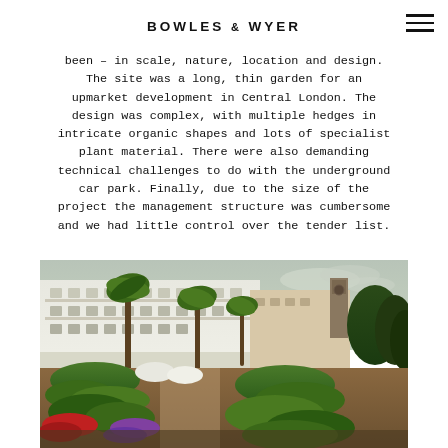BOWLES & WYER
been – in scale, nature, location and design. The site was a long, thin garden for an upmarket development in Central London. The design was complex, with multiple hedges in intricate organic shapes and lots of specialist plant material. There were also demanding technical challenges to do with the underground car park. Finally, due to the size of the project the management structure was cumbersome and we had little control over the tender list.
[Figure (photo): Photograph of a formal garden with intricate organic-shaped box hedges, colourful flower beds, palm trees, and a grand white stucco terraced building in the background under an overcast sky.]